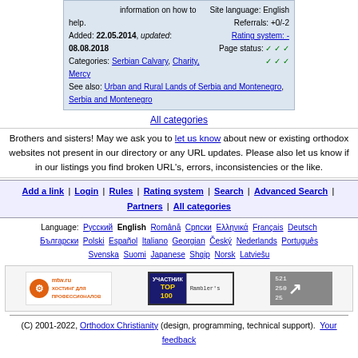information on how to help. Site language: English Referrals: +0/-2 Rating system: - Page status: ✓✓✓ ✓✓✓ Added: 22.05.2014, updated: 08.08.2018 Categories: Serbian Calvary, Charity, Mercy See also: Urban and Rural Lands of Serbia and Montenegro, Serbia and Montenegro
All categories
Brothers and sisters! May we ask you to let us know about new or existing orthodox websites not present in our directory or any URL updates. Please also let us know if in our listings you find broken URL's, errors, inconsistencies or the like.
Add a link | Login | Rules | Rating system | Search | Advanced Search | Partners | All categories
Language: Русский English Română Српски Ελληνικά Français Deutsch Български Polski Español Italiano Georgian Český Nederlands Português Svenska Suomi Japanese Shqip Norsk Latviešu
[Figure (logo): mtw.ru hosting banner and Rambler Top 100 banner]
(C) 2001-2022, Orthodox Christianity (design, programming, technical support). Your feedback